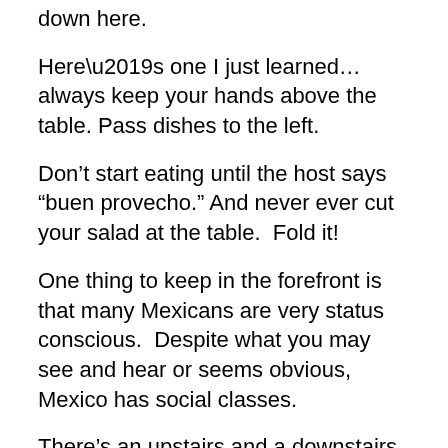down here.
Here’s one I just learned…always keep your hands above the table. Pass dishes to the left.
Don’t start eating until the host says “buen provecho.” And never ever cut your salad at the table.  Fold it!
One thing to keep in the forefront is that many Mexicans are very status conscious.  Despite what you may see and hear or seems obvious, Mexico has social classes.
There’s an upstairs and a downstairs.  Socially, there’s not much cross-over.  Sadly actually.
Upper class stays upper class.  Middle and lower class stay in their lanes as well.
Status is very important.